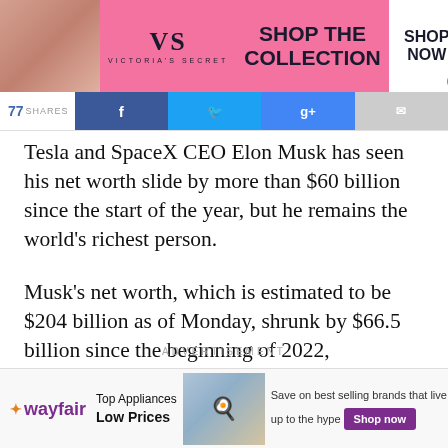[Figure (other): Victoria's Secret advertisement banner with pink background, model, VS logo, 'SHOP THE COLLECTION' text, and 'SHOP NOW' button]
SHARES [social share buttons: Facebook, Twitter, Google+, Email]
Tesla and SpaceX CEO Elon Musk has seen his net worth slide by more than $60 billion since the start of the year, but he remains the world's richest person.
Musk's net worth, which is estimated to be $204 billion as of Monday, shrunk by $66.5 billion since the beginning of 2022, Bloomberg reported.
ADVERTISEMENT
[Figure (other): Wayfair advertisement banner: 'Top Appliances Low Prices' with stove image and 'Save on best selling brands that live up to the hype. Shop now' button]